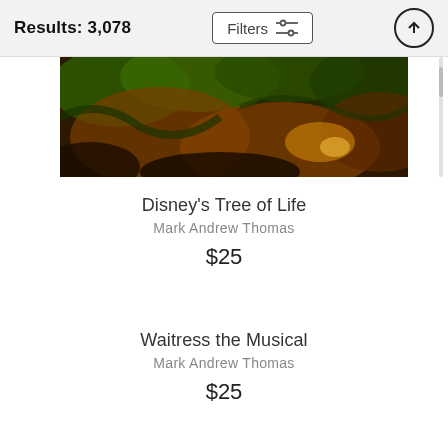Results: 3,078
[Figure (photo): A wide panoramic image of Disney's Tree of Life, showing dense jungle foliage with orange and green tones, illuminated from within.]
Disney's Tree of Life
Mark Andrew Thomas
$25
Waitress the Musical
Mark Andrew Thomas
$25